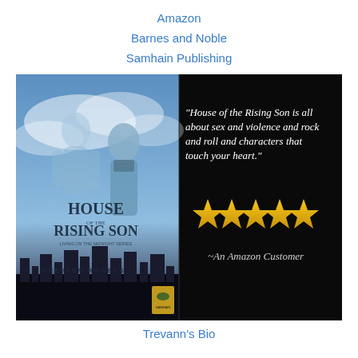Amazon
Barnes and Noble
Samhain Publishing
[Figure (illustration): Book cover and review image for 'House of the Rising Son' by Trevann Rogers. Left half shows the book cover with two male figures against a blue cloudy sky and city skyline. Right half on black background shows a quote: 'House of the Rising Son is all about sex and violence and rock and roll and characters that touch your heart.' with five gold star rating symbols and attribution '~An Amazon Customer'.]
Trevann's Bio